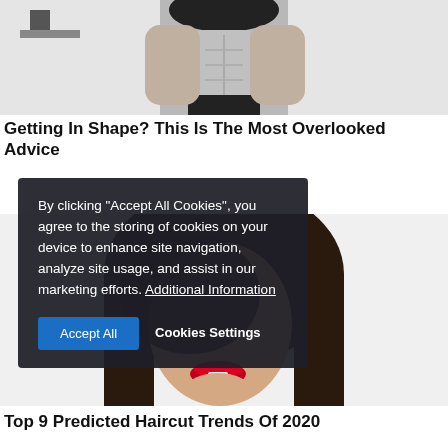[Figure (photo): Cropped photo of a fit person in black athletic wear showing toned midsection, photographed from chest to upper thighs against a light background]
Getting In Shape? This Is The Most Overlooked Advice
[Figure (photo): Close-up photo of a woman with long dark hair and red lipstick, face partially obscured by hair, against a white background]
By clicking "Accept All Cookies", you agree to the storing of cookies on your device to enhance site navigation, analyze site usage, and assist in our marketing efforts. Additional Information
Top 9 Predicted Haircut Trends Of 2020